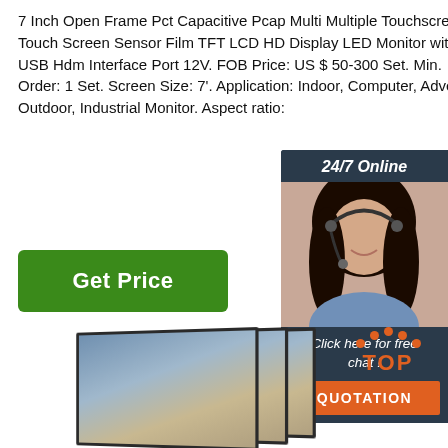7 Inch Open Frame Pct Capacitive Pcap Multi Multiple Touchscreen Touch Screen Sensor Film TFT LCD HD Display LED Monitor with Dp USB Hdm Interface Port 12V. FOB Price: US $ 50-300 Set. Min. Order: 1 Set. Screen Size: 7'. Application: Indoor, Computer, Advertising Outdoor, Industrial Monitor. Aspect ratio:
[Figure (infographic): 24/7 Online chat widget showing a woman with a headset, 'Click here for free chat!' text, and an orange QUOTATION button on a dark blue/gray background]
[Figure (illustration): Get Price green button]
[Figure (logo): TOP icon with orange dots arranged as an arc above the word TOP in orange]
[Figure (photo): Three LCD monitor screens shown in perspective, stacked/overlapping at an angle, showing a landscape image on screen]